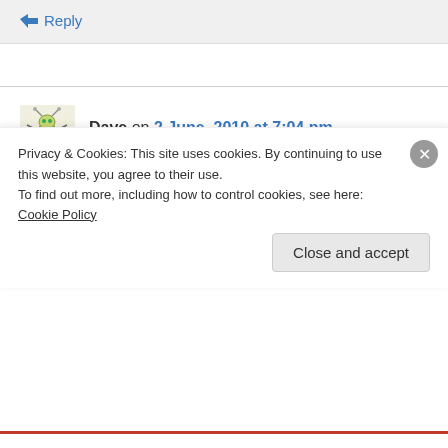↳ Reply
Dave on 2 June, 2010 at 7:04 pm
I agree with all you've said.
And believe it or not, despite what people think of me. I'm not usually wowed by new gadgets.
Privacy & Cookies: This site uses cookies. By continuing to use this website, you agree to their use.
To find out more, including how to control cookies, see here: Cookie Policy
Close and accept